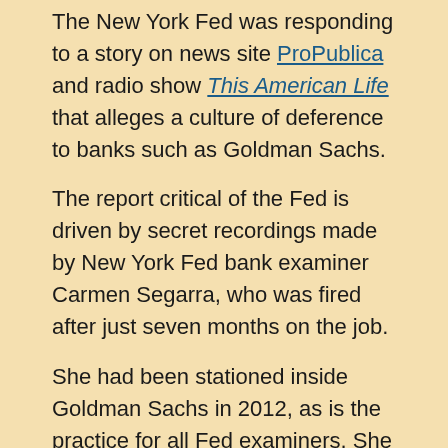The New York Fed was responding to a story on news site ProPublica and radio show This American Life that alleges a culture of deference to banks such as Goldman Sachs.
The report critical of the Fed is driven by secret recordings made by New York Fed bank examiner Carmen Segarra, who was fired after just seven months on the job.
She had been stationed inside Goldman Sachs in 2012, as is the practice for all Fed examiners. She alleges she attempted to make constructive criticism of the bank, only to be contradicted and eventually fired by Fed managers.